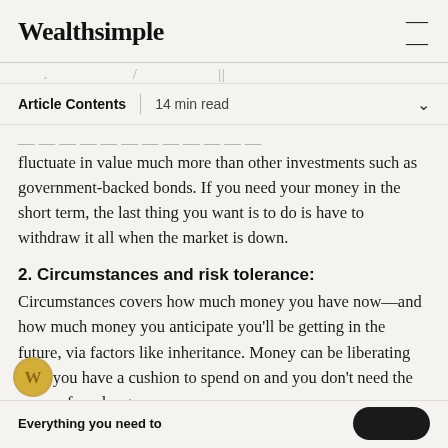Wealthsimple
fluctuate in value much more than other investments such as government-backed bonds. If you need your money in the short term, the last thing you want is to do is have to withdraw it all when the market is down.
2. Circumstances and risk tolerance:
Circumstances covers how much money you have now—and how much money you anticipate you'll be getting in the future, via factors like inheritance. Money can be liberating — if you have a cushion to spend on and you don't need the money for a long period of time then investing might be a good option
Everything you need to